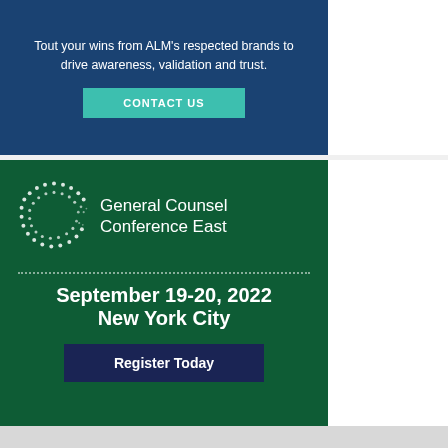Tout your wins from ALM's respected brands to drive awareness, validation and trust.
[Figure (other): Teal/green 'CONTACT US' button on dark blue background]
[Figure (logo): General Counsel Conference East logo — dotted C shape in white on dark green background, with text 'General Counsel Conference East']
September 19-20, 2022
New York City
[Figure (other): Dark navy 'Register Today' button on dark green background]